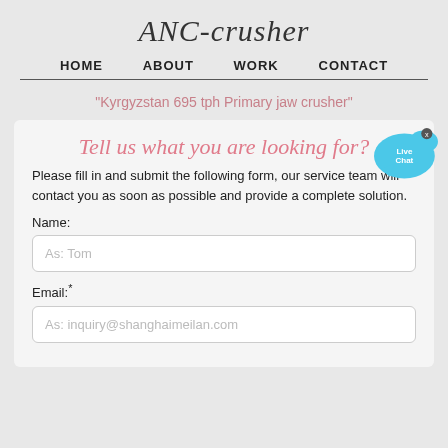ANC-crusher
HOME   ABOUT   WORK   CONTACT
"Kyrgyzstan 695 tph Primary jaw crusher"
Tell us what you are looking for?
Please fill in and submit the following form, our service team will contact you as soon as possible and provide a complete solution.
Name:
As: Tom
Email:*
As: inquiry@shanghaimeilan.com